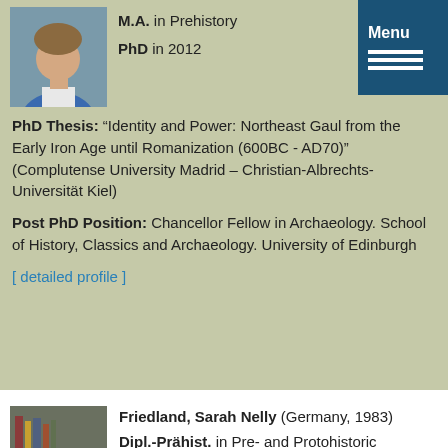[Figure (photo): Headshot of a young person wearing a blue jacket]
M.A. in Prehistory
PhD in 2012
PhD Thesis: “Identity and Power: Northeast Gaul from the Early Iron Age until Romanization (600BC - AD70)” (Complutense University Madrid – Christian-Albrechts-Universität Kiel)
Post PhD Position: Chancellor Fellow in Archaeology. School of History, Classics and Archaeology. University of Edinburgh
[ detailed profile ]
[Figure (photo): Headshot of Sarah Nelly Friedland, a woman smiling in front of bookshelves]
Friedland, Sarah Nelly (Germany, 1983)
Dipl.-Prähist. in Pre- and Protohistoric Archaeology
PhD Thesis: Die Olsborg und ihr Umfeld. Forschungen zum...